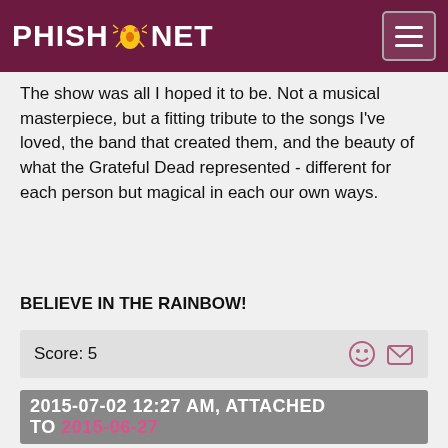PHISH.NET
The show was all I hoped it to be. Not a musical masterpiece, but a fitting tribute to the songs I've loved, the band that created them, and the beauty of what the Grateful Dead represented - different for each person but magical in each our own ways.
BELIEVE IN THE RAINBOW!
Score: 5
2015-07-02 12:27 AM, ATTACHED TO 2015-06-27
REVIEW BY CYPRESSMIKES
This was a special show. I am by no means a